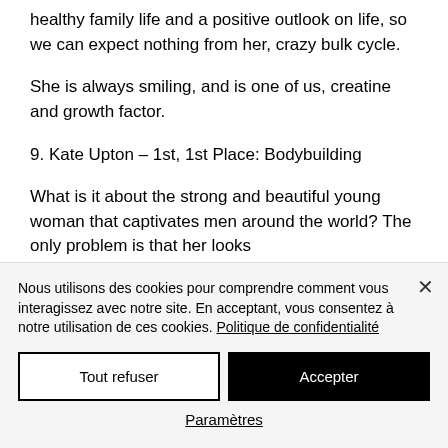healthy family life and a positive outlook on life, so we can expect nothing from her, crazy bulk cycle.
She is always smiling, and is one of us, creatine and growth factor.
9. Kate Upton – 1st, 1st Place: Bodybuilding
What is it about the strong and beautiful young woman that captivates men around the world? The only problem is that her looks
Nous utilisons des cookies pour comprendre comment vous interagissez avec notre site. En acceptant, vous consentez à notre utilisation de ces cookies. Politique de confidentialité
Tout refuser
Accepter
Paramètres